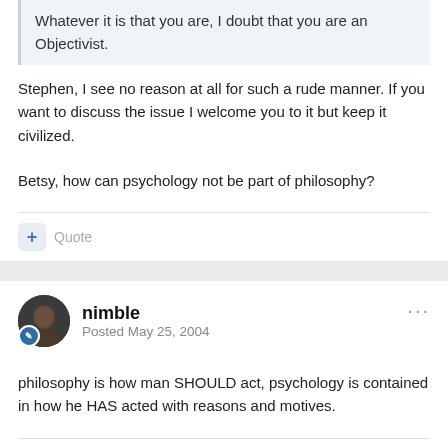Whatever it is that you are, I doubt that you are an Objectivist.
Stephen, I see no reason at all for such a rude manner. If you want to discuss the issue I welcome you to it but keep it civilized.
Betsy, how can psychology not be part of philosophy?
nimble
Posted May 25, 2004
philosophy is how man SHOULD act, psychology is contained in how he HAS acted with reasons and motives.